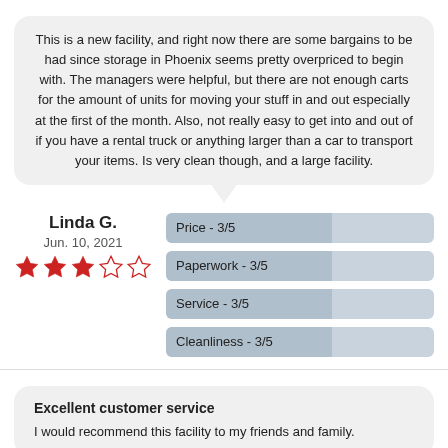This is a new facility, and right now there are some bargains to be had since storage in Phoenix seems pretty overpriced to begin with. The managers were helpful, but there are not enough carts for the amount of units for moving your stuff in and out especially at the first of the month. Also, not really easy to get into and out of if you have a rental truck or anything larger than a car to transport your items. Is very clean though, and a large facility.
Linda G.
Jun. 10, 2021
[Figure (other): 3 out of 5 stars rating]
Price - 3/5
Paperwork - 3/5
Service - 3/5
Cleanliness - 3/5
Excellent customer service
I would recommend this facility to my friends and family.
Kim Ballew
May 29, 2021
Price - 5/5